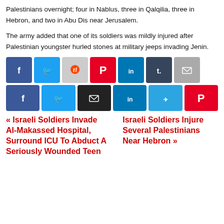Palestinians overnight; four in Nablus, three in Qalqilia, three in Hebron, and two in Abu Dis near Jerusalem.
The army added that one of its soldiers was mildly injured after Palestinian youngster hurled stones at military jeeps invading Jenin.
[Figure (other): Social media share buttons row 1: Facebook, Twitter, Reddit, Pinterest, LinkedIn, Tumblr, Email]
[Figure (other): Social media share buttons row 2: Facebook, Twitter, Email, LinkedIn, Telegram, Pinterest]
« Israeli Soldiers Invade Al-Makassed Hospital, Surround ICU To Abduct A Seriously Wounded Teen
Israeli Soldiers Injure Several Palestinians Near Hebron »